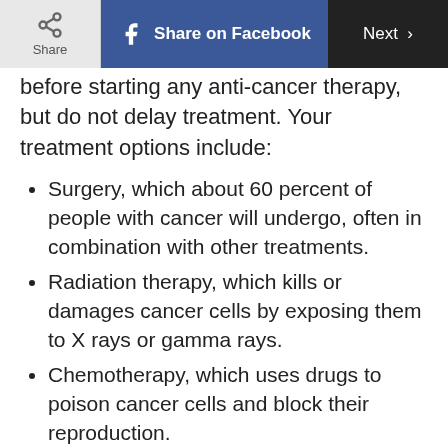Share | Share on Facebook | Next
before starting any anti-cancer therapy, but do not delay treatment. Your treatment options include:
Surgery, which about 60 percent of people with cancer will undergo, often in combination with other treatments.
Radiation therapy, which kills or damages cancer cells by exposing them to X rays or gamma rays.
Chemotherapy, which uses drugs to poison cancer cells and block their reproduction.
Hormone therapy, which works by disrupting the production or action of